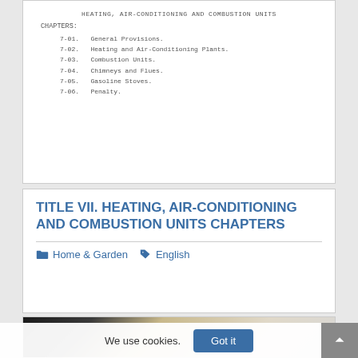HEATING, AIR-CONDITIONING AND COMBUSTION UNITS
CHAPTERS:
7-01.   General Provisions.
7-02.   Heating and Air-Conditioning Plants.
7-03.   Combustion Units.
7-04.   Chimneys and Flues.
7-05.   Gasoline Stoves.
7-06.   Penalty.
TITLE VII. HEATING, AIR-CONDITIONING AND COMBUSTION UNITS CHAPTERS
Home & Garden   English
[Figure (photo): Photo of pencils on a light background]
We use cookies.